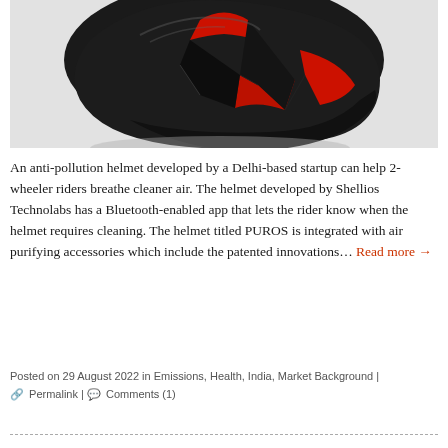[Figure (photo): Close-up of a black and red futuristic anti-pollution motorcycle helmet (PUROS) against a light grey background, showing angular design with red accent panels]
An anti-pollution helmet developed by a Delhi-based startup can help 2-wheeler riders breathe cleaner air. The helmet developed by Shellios Technolabs has a Bluetooth-enabled app that lets the rider know when the helmet requires cleaning. The helmet titled PUROS is integrated with air purifying accessories which include the patented innovations… Read more →
Posted on 29 August 2022 in Emissions, Health, India, Market Background | Permalink | Comments (1)